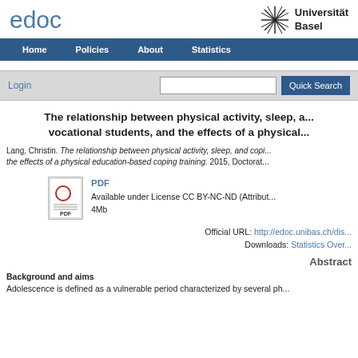edoc | Universität Basel
[Figure (screenshot): Navigation bar with Home, Policies, About, Statistics links]
[Figure (screenshot): Search bar with Login link, text input, and Quick Search button]
The relationship between physical activity, sleep, a... vocational students, and the effects of a physical...
Lang, Christin. The relationship between physical activity, sleep, and copi... the effects of a physical education-based coping training. 2015, Doctorat...
[Figure (other): PDF file icon]
PDF
Available under License CC BY-NC-ND (Attribut...
4Mb
Official URL: http://edoc.unibas.ch/dis...
Downloads: Statistics Over...
Abstract
Background and aims
Adolescence is defined as a vulnerable period characterized by several ph...